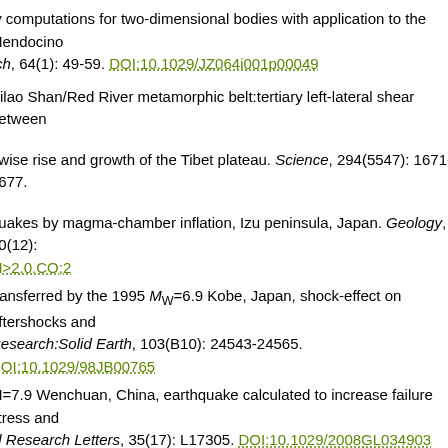ty computations for two-dimensional bodies with application to the Mendocino rch, 64(1): 49-59. DOI:10.1029/JZ064i001p00049
Ailao Shan/Red River metamorphic belt:tertiary left-lateral shear between
owise rise and growth of the Tibet plateau. Science, 294(5547): 1671-1677.
quakes by magma-chamber inflation, Izu peninsula, Japan. Geology, 10(12): M>2.0.CO;2
transferred by the 1995 MW=6.9 Kobe, Japan, shock-effect on aftershocks and Research:Solid Earth, 103(B10): 24543-24565. DOI:10.1029/98JB00765
M=7.9 Wenchuan, China, earthquake calculated to increase failure stress and al Research Letters, 35(17): L17305. DOI:10.1029/2008GL034903
ears of Coulomb stress history along the California-Nevada border, USA.
ce of 2008 Wenchuan earthquake on surrounding faults. Acta Geologica Sinica nologica
n 3-D velocity structure of crust and upper mantle in Sichuan-Yunnan region,
in evaluation of Meridian zone. The new method for calculating of the